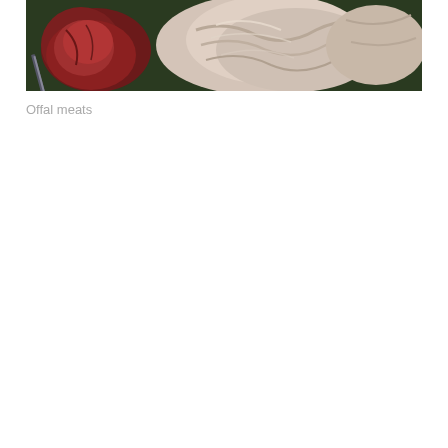[Figure (photo): A photograph of offal meats including dark red organ meat (possibly liver or heart) on the left side with a knife, and pale/light-colored tripe or stomach lining on the right side, arranged on a dark green surface.]
Offal meats